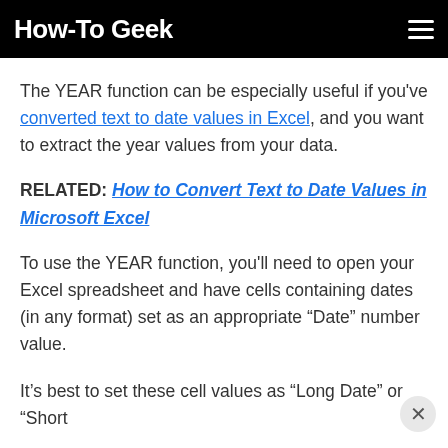How-To Geek
The YEAR function can be especially useful if you've converted text to date values in Excel, and you want to extract the year values from your data.
RELATED: How to Convert Text to Date Values in Microsoft Excel
To use the YEAR function, you'll need to open your Excel spreadsheet and have cells containing dates (in any format) set as an appropriate “Date” number value.
It’s best to set these cell values as “Long Date” or “Short